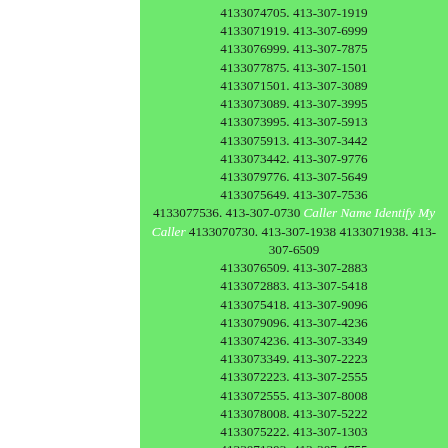4133074705. 413-307-1919 4133071919. 413-307-6999 4133076999. 413-307-7875 4133077875. 413-307-1501 4133071501. 413-307-3089 4133073089. 413-307-3995 4133073995. 413-307-5913 4133075913. 413-307-3442 4133073442. 413-307-9776 4133079776. 413-307-5649 4133075649. 413-307-7536 4133077536. 413-307-0730 Caller Name Identify My Caller 4133070730. 413-307-1938 4133071938. 413-307-6509 4133076509. 413-307-2883 4133072883. 413-307-5418 4133075418. 413-307-9096 4133079096. 413-307-4236 4133074236. 413-307-3349 4133073349. 413-307-2223 4133072223. 413-307-2555 4133072555. 413-307-8008 4133078008. 413-307-5222 4133075222. 413-307-1303 4133071303. 413-307-4755